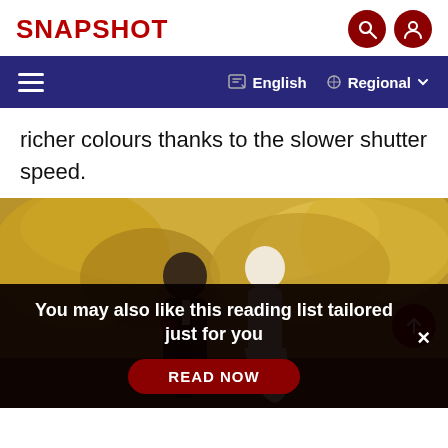SNAPSHOT
richer colours thanks to the slower shutter speed.
[Figure (photo): Wedding couple walking outdoors among autumn golden foliage; groom in dark suit, bride in white dress]
You may also like this reading list tailored just for you
READ NOW